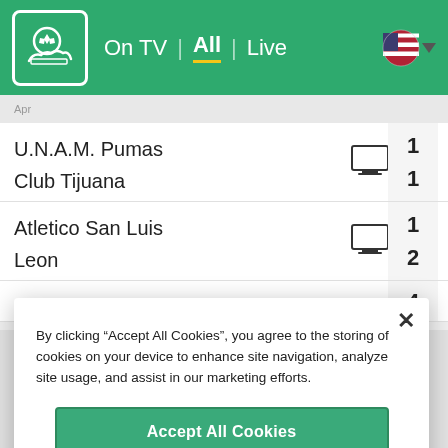On TV | All | Live
| Team | TV | Score |
| --- | --- | --- |
| U.N.A.M. Pumas | TV | 1 |
| Club Tijuana |  | 1 |
| Atletico San Luis | TV | 1 |
| Leon |  | 2 |
| Santos Laguna |  | 4 |
By clicking “Accept All Cookies”, you agree to the storing of cookies on your device to enhance site navigation, analyze site usage, and assist in our marketing efforts.
Accept All Cookies
Cookies Settings